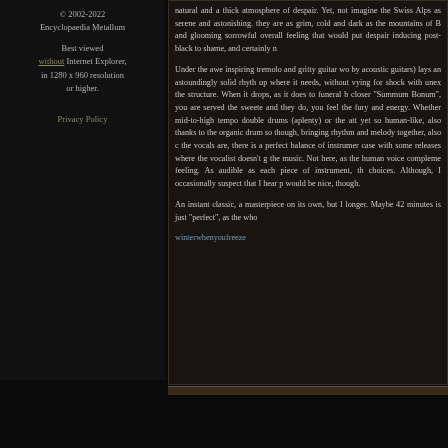© 2002-2022 Encyclopaedia Metallum
Best viewed without Internet Explorer, in 1280 x 960 resolution or higher.
Privacy Policy
natural and a thick atmosphere of despair. Yet, not imagine the Swiss Alps as serene and astonishing. they are as grim, cold and dark as the mountains of B and glooming sorrowful overall feeling that would put despair inducing post-black to shame, and certainly n
Under the awe inspiring tremolo and gritty guitar wo by acoustic guitars) lays an astoundingly solid rhyth up where it needs, without vying for shock with unex the structure. When it drops, as it does to funeral b closer "Summum Bonum", you are served the sweete and they do, you feel the fury and energy. Whether mid-to-high tempo double drums (aplenty) or the att yet so human-like, also thanks to the organic drum so though, bringing rhythm and melody together, also c the vocals are, there is a perfect balance of instrumer case with some releases where the vocalist doesn't g the music. Not here, as the human voice compleme feeling. As audible as each piece of instrument, th choices. Although, I occasionally suspect that I hear p would be nice, though.
An instant classic, a masterpiece on its own, but I longer. Maybe 42 minutes is just "perfect", as the who
winterwhenyoufreeze